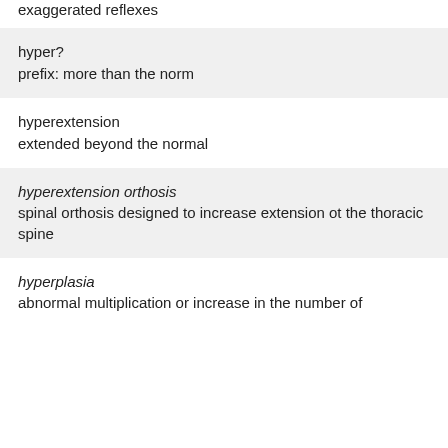exaggerated reflexes
hyper?
prefix: more than the norm
hyperextension
extended beyond the normal
hyperextension orthosis
spinal orthosis designed to increase extension ot the thoracic spine
hyperplasia
abnormal multiplication or increase in the number of